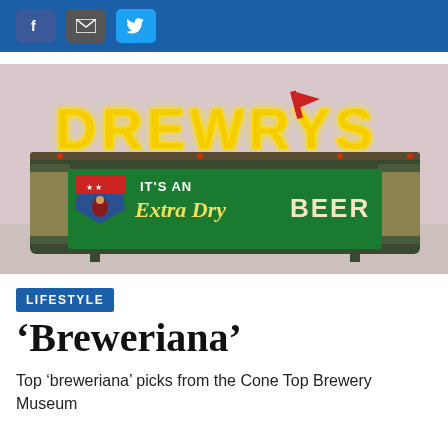Social share buttons: Facebook, Email, Twitter
[Figure (photo): Vintage Drewry's neon sign reading 'DREWRYS' in large yellow neon letters mounted on a dark green base with a green panel that reads 'IT'S AN Extra Dry BEER' alongside a Mountie logo/shield, set against a pink-lavender background.]
LIFESTYLE
‘Breweriana’
Top ‘breweriana’ picks from the Cone Top Brewery Museum